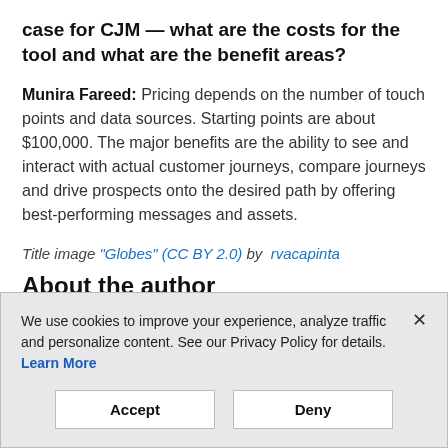case for CJM — what are the costs for the tool and what are the benefit areas?
Munira Fareed: Pricing depends on the number of touch points and data sources. Starting points are about $100,000. The major benefits are the ability to see and interact with actual customer journeys, compare journeys and drive prospects onto the desired path by offering best-performing messages and assets.
Title image "Globes" (CC BY 2.0) by rvacapinta
About the author
We use cookies to improve your experience, analyze traffic and personalize content. See our Privacy Policy for details. Learn More